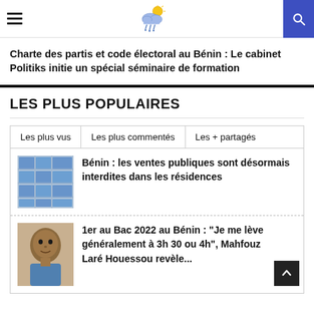Header with hamburger menu, weather logo, and search button
Charte des partis et code électoral au Bénin : Le cabinet Politiks initie un spécial séminaire de formation
LES PLUS POPULAIRES
Les plus vus
Les plus commentés
Les + partagés
Bénin : les ventes publiques sont désormais interdites dans les résidences
1er au Bac 2022 au Bénin : "Je me lève généralement à 3h 30 ou 4h", Mahfouz Laré Houessou revèle...